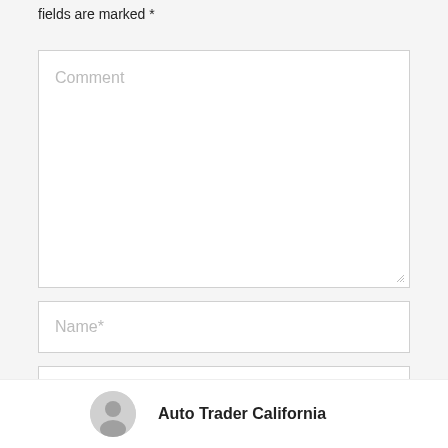Your email address will not be published. Required fields are marked *
[Figure (screenshot): Comment textarea input field with placeholder text 'Comment']
[Figure (screenshot): Name text input field with placeholder text 'Name*']
[Figure (screenshot): Email text input field partially visible]
Auto Trader California